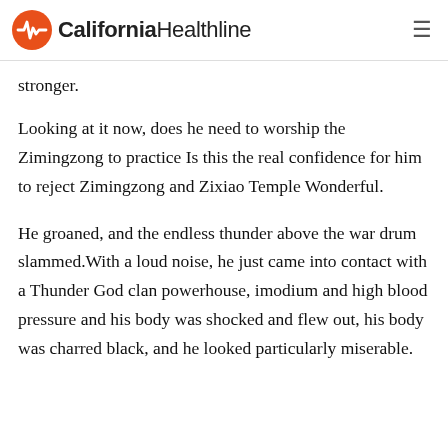California Healthline
stronger.
Looking at it now, does he need to worship the Zimingzong to practice Is this the real confidence for him to reject Zimingzong and Zixiao Temple Wonderful.
He groaned, and the endless thunder above the war drum slammed.With a loud noise, he just came into contact with a Thunder God clan powerhouse, imodium and high blood pressure and his body was shocked and flew out, his body was charred black, and he looked particularly miserable.